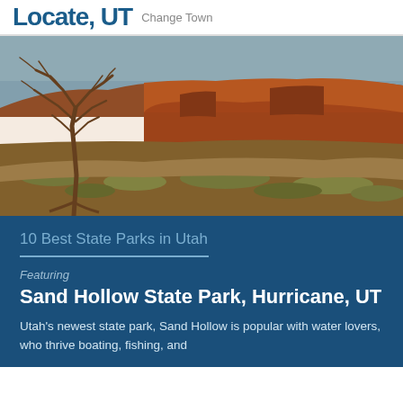Locate, UT Change Town
[Figure (photo): Desert landscape with a bare dead tree in the foreground, scrubby sagebrush vegetation across a flat plain, and tall red sandstone cliffs and mesa in the background under a blue sky, photographed at warm golden light.]
10 Best State Parks in Utah
Featuring
Sand Hollow State Park, Hurricane, UT
Utah's newest state park, Sand Hollow is popular with water lovers, who thrive boating, fishing, and